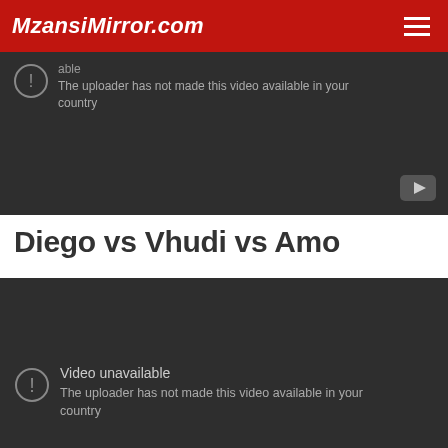MzansiMirror.com
[Figure (screenshot): YouTube video embed showing 'Video unavailable - The uploader has not made this video available in your country' error message on dark background]
Diego vs Vhudi vs Amo
[Figure (screenshot): Second YouTube video embed showing 'Video unavailable - The uploader has not made this video available in your country' error message on dark background]